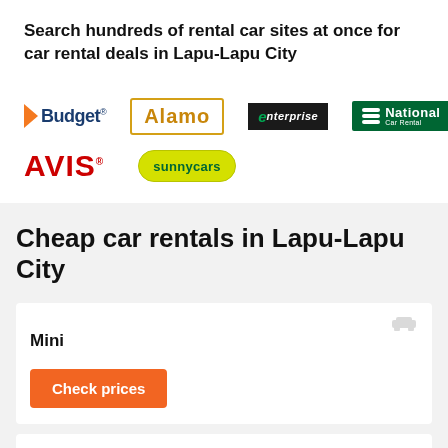Search hundreds of rental car sites at once for car rental deals in Lapu-Lapu City
[Figure (logo): Car rental company logos: Budget, Alamo, Enterprise, National, Avis, SunnyCars]
Cheap car rentals in Lapu-Lapu City
Mini
Check prices